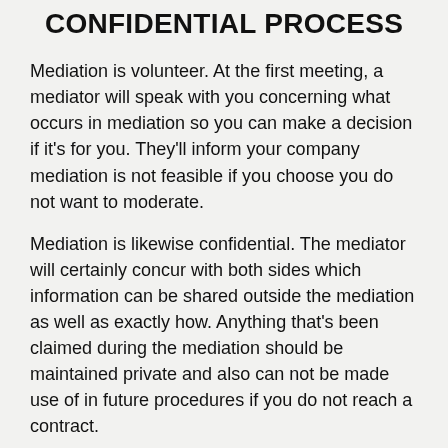CONFIDENTIAL PROCESS
Mediation is volunteer. At the first meeting, a mediator will speak with you concerning what occurs in mediation so you can make a decision if it's for you. They'll inform your company mediation is not feasible if you choose you do not want to moderate.
Mediation is likewise confidential. The mediator will certainly concur with both sides which information can be shared outside the mediation as well as exactly how. Anything that's been claimed during the mediation should be maintained private and also can not be made use of in future procedures if you do not reach a contract.